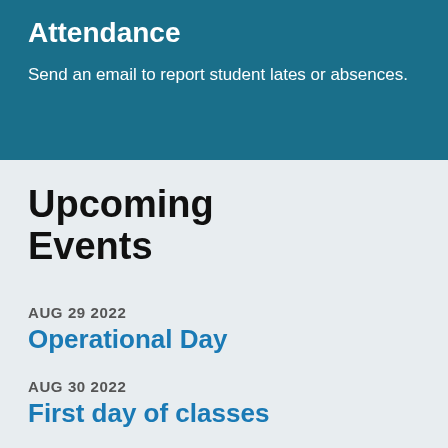Attendance
Send an email to report student lates or absences.
Upcoming Events
AUG 29 2022 — Operational Day
AUG 30 2022 — First day of classes